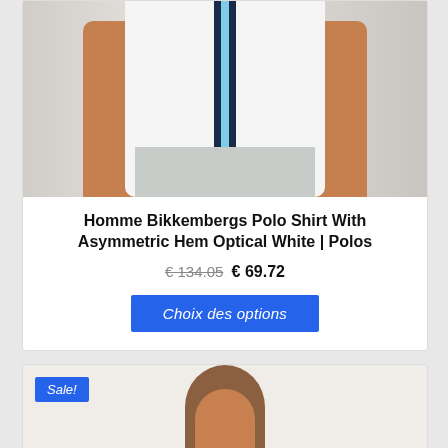[Figure (photo): Man wearing white Bikkembergs polo shirt with navy and light blue asymmetric stripe/band down the center, paired with grey shorts. Torso and arms visible against light background.]
Homme Bikkembergs Polo Shirt With Asymmetric Hem Optical White | Polos
€ 134.05 € 69.72
Choix des options
[Figure (photo): Partial view of second product card showing a Sale! badge and top of a person's head/hair.]